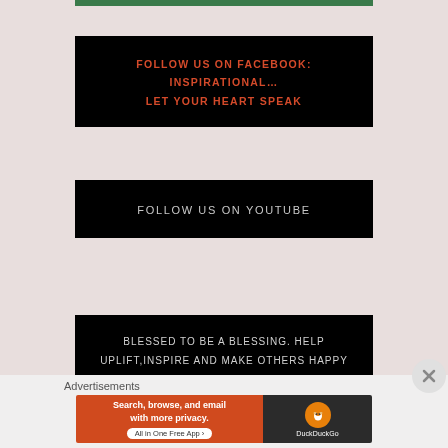[Figure (other): Green bar at top]
FOLLOW US ON FACEBOOK: INSPIRATIONAL… LET YOUR HEART SPEAK
FOLLOW US ON YOUTUBE
BLESSED TO BE A BLESSING. HELP UPLIFT,INSPIRE AND MAKE OTHERS HAPPY FEEL FREE TO DONATE ANY AMOUNT. WE
Advertisements
[Figure (other): DuckDuckGo advertisement banner: Search, browse, and email with more privacy. All in One Free App.]